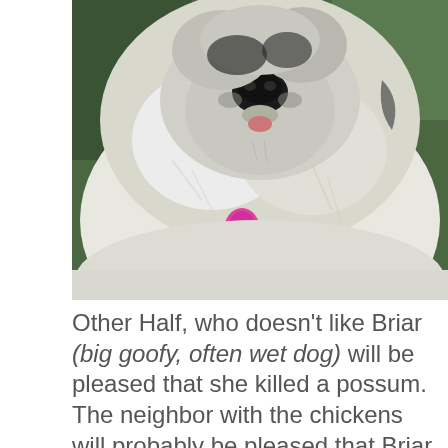[Figure (photo): Close-up photo of a large fluffy white and grey dog (Briar) with a pink tag on its collar, tongue slightly visible, looking at camera, with green foliage in background.]
Other Half, who doesn't like Briar (big goofy, often wet dog) will be pleased that she killed a possum. The neighbor with the chickens will probably be pleased that Briar killed the possum. Briar is most